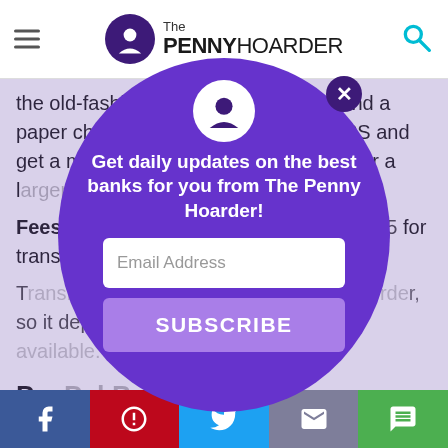The PENNY HOARDER
the old-fashioned way. Rather than send a paper check in the mail, go to the USPS and get a money order (or cashier's check for a larger amount).
Fees: $1.45 for transfers up to $500, $1.95 for transfers up to $1,000.
Transfer time: You will mail your money order, so it depends on the shipping options available.
PayPal Best for Small Businesses and Consumers
By Robin Hartill, Certified Financial Planner
[Figure (screenshot): Modal popup overlay on The Penny Hoarder website. A large purple circle contains: The Penny Hoarder logo at top, a close (X) button, the text 'Get daily updates on the best banks for you from The Penny Hoarder!', an email address input field, and a SUBSCRIBE button. The background shows partially obscured article content.]
Social share buttons: Facebook, Pinterest, Twitter, Email, Messenger